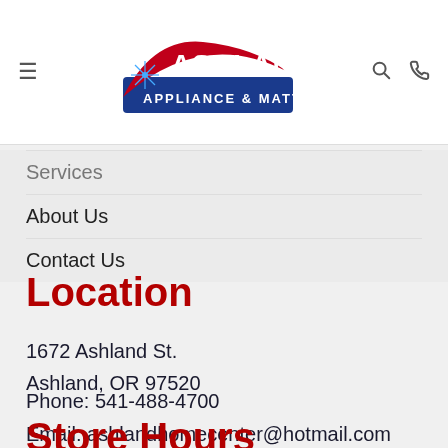Ashland Appliance & Mattress — navigation header with logo, hamburger menu, search and phone icons
Services
About Us
Contact Us
Location
1672 Ashland St.
Ashland, OR 97520
Phone: 541-488-4700
Email: ashlandhomecenter@hotmail.com
Store Hours